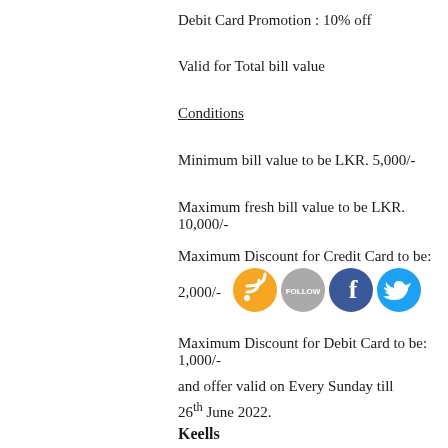Debit Card Promotion : 10% off
Valid for Total bill value
Conditions
Minimum bill value to be LKR. 5,000/-
Maximum fresh bill value to be LKR. 10,000/-
Maximum Discount for Credit Card to be: 2,000/-
[Figure (illustration): Social media icons: RSS (orange), Follow (grey), Facebook (blue), Twitter (light blue)]
Maximum Discount for Debit Card to be: 1,000/-
and offer valid on Every Sunday till 26th June 2022.
Keells